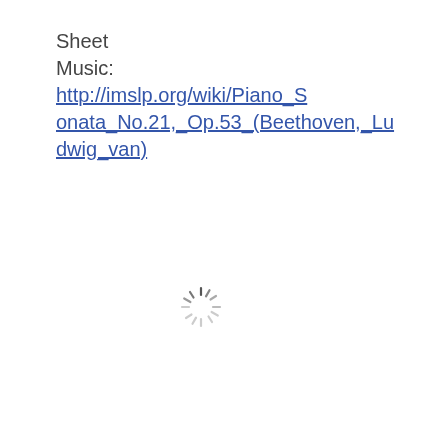Sheet Music: http://imslp.org/wiki/Piano_Sonata_No.21,_Op.53_(Beethoven,_Ludwig_van)
[Figure (other): A circular loading spinner icon with radiating lines in gray]